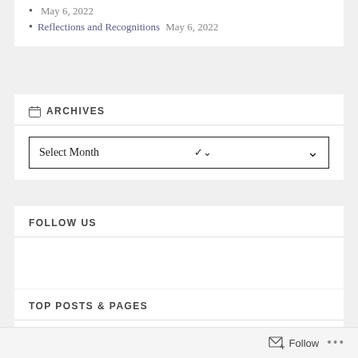May 6, 2022
Reflections and Recognitions May 6, 2022
ARCHIVES
Select Month
FOLLOW US
TOP POSTS & PAGES
[Figure (photo): Thumbnail image for Sexist Tropes in Movies post]
Sexist Tropes in Movies
Follow ...